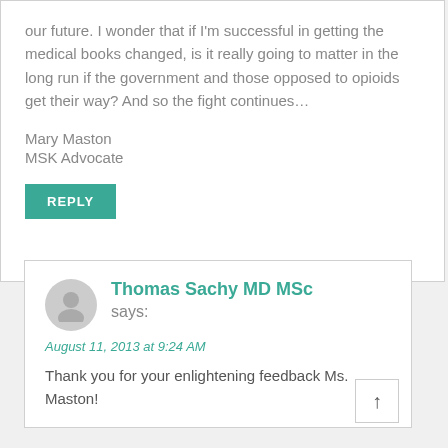our future. I wonder that if I'm successful in getting the medical books changed, is it really going to matter in the long run if the government and those opposed to opioids get their way? And so the fight continues…
Mary Maston
MSK Advocate
REPLY
Thomas Sachy MD MSc
says:
August 11, 2013 at 9:24 AM
Thank you for your enlightening feedback Ms. Maston!